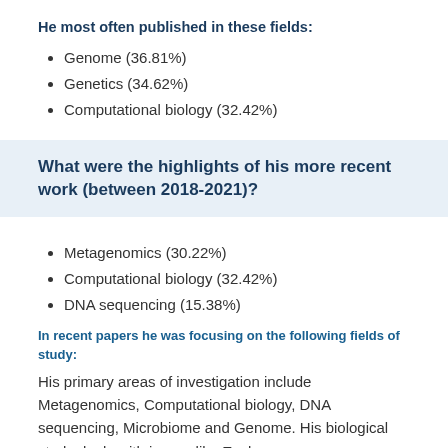He most often published in these fields:
Genome (36.81%)
Genetics (34.62%)
Computational biology (32.42%)
What were the highlights of his more recent work (between 2018-2021)?
Metagenomics (30.22%)
Computational biology (32.42%)
DNA sequencing (15.38%)
In recent papers he was focusing on the following fields of study:
His primary areas of investigation include Metagenomics, Computational biology, DNA sequencing, Microbiome and Genome. His biological study deals with issues like Ecology,